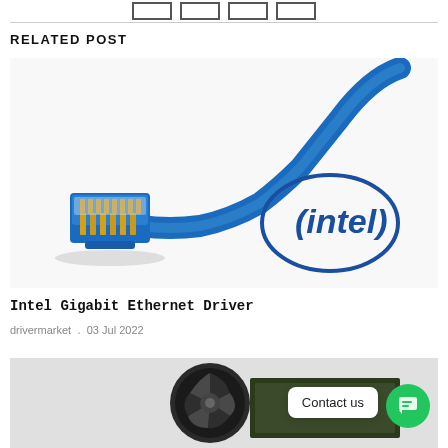[Figure (other): Four empty checkbox-style rectangles in a row at top of page]
RELATED POST
[Figure (photo): Photo of a blue Ethernet/RJ45 cable with Intel logo in background on white surface]
Intel Gigabit Ethernet Driver
drivermarket . 03 Jul 2022
[Figure (photo): Partially visible photo of a black computer GPU/graphics card cooling fan hardware, with 'Contact us' button overlay and green chat icon]